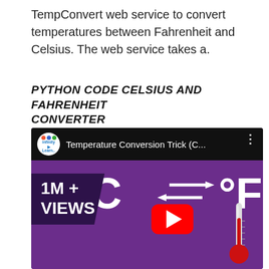TempConvert web service to convert temperatures between Fahrenheit and Celsius. The web service takes a.
PYTHON CODE CELSIUS AND FAHRENHEIT CONVERTER
[Figure (screenshot): YouTube video thumbnail showing a Temperature Conversion Trick video by Infinity Learn, with purple background, °C ⇌ °F symbols, 1M+ Views banner, YouTube play button, and a thermometer graphic.]